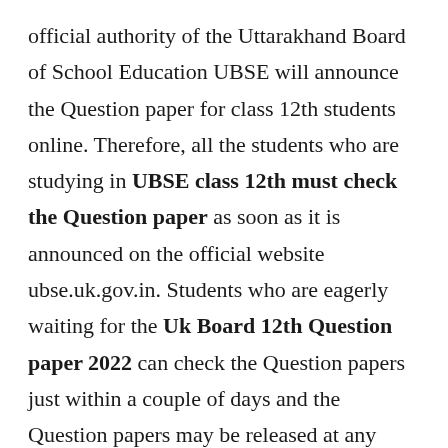official authority of the Uttarakhand Board of School Education UBSE will announce the Question paper for class 12th students online. Therefore, all the students who are studying in UBSE class 12th must check the Question paper as soon as it is announced on the official website ubse.uk.gov.in. Students who are eagerly waiting for the Uk Board 12th Question paper 2022 can check the Question papers just within a couple of days and the Question papers may be released at any time from now. UK Board 12th Question paper 2022 updates, direct